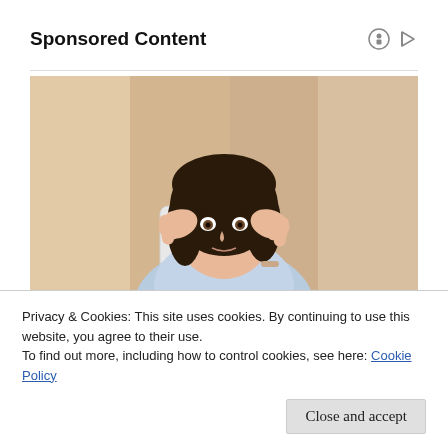Sponsored Content
[Figure (photo): Woman with dark hair sitting at a desk with hands pressed to her temples, looking stressed or thoughtful, wearing a light blue shirt, warm beige background]
Privacy & Cookies: This site uses cookies. By continuing to use this website, you agree to their use.
To find out more, including how to control cookies, see here: Cookie Policy
Close and accept